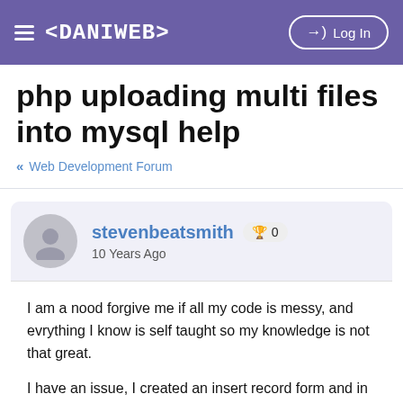≡ <DANIWEB>  →) Log In
php uploading multi files into mysql help
« Web Development Forum
stevenbeatsmith 🏆 0
10 Years Ago
I am a nood forgive me if all my code is messy, and evrything I know is self taught so my knowledge is not that great.

I have an issue, I created an insert record form and in it there is title, price, 8 file upload fields and other fields.

every thing somewhat works fine, but the file upload has